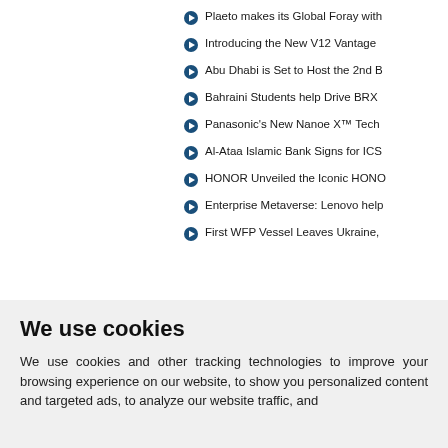Plaeto makes its Global Foray with
Introducing the New V12 Vantage
Abu Dhabi is Set to Host the 2nd B
Bahraini Students help Drive BRX
Panasonic's New Nanoe X™ Tech
Al-Ataa Islamic Bank Signs for ICS
HONOR Unveiled the Iconic HONO
Enterprise Metaverse: Lenovo help
First WFP Vessel Leaves Ukraine,
We use cookies
We use cookies and other tracking technologies to improve your browsing experience on our website, to show you personalized content and targeted ads, to analyze our website traffic, and